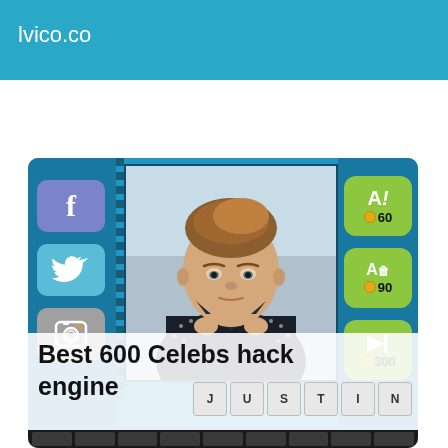lvico.co
[Figure (screenshot): Mobile game screenshot showing a celebrity guessing game. Left side has Facebook, Twitter, and Instagram social buttons. Center shows a photo of a young male celebrity. Right side has green action buttons with coin costs: 60 coins, 90 coins, 300 coins. Bottom shows text 'Best 600 Celebs hack engine' with letter tiles spelling J U S T I N and a black keyboard row at the bottom.]
Best 600 Celebs hack engine
J U S T I N